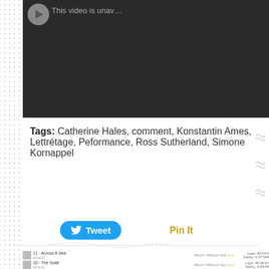[Figure (screenshot): Embedded video player showing unavailable video with dark background]
Tags: Catherine Hales, comment, Konstantin Ames, Lettrétage, Peformance, Ross Sutherland, Simone Kornappel
[Figure (screenshot): Tweet button and Pin It link for social sharing]
[Figure (screenshot): Bottom preview of a music playlist interface showing tracks from album Without Your Love]